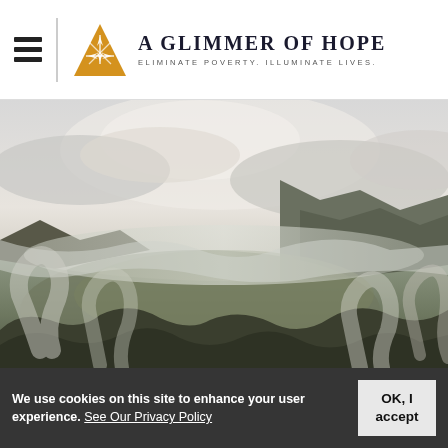A GLIMMER OF HOPE — ELIMINATE POVERTY. ILLUMINATE LIVES.
[Figure (photo): Aerial landscape photo of a misty mountainous valley with clouds and smoke drifting through forested hillsides]
We use cookies on this site to enhance your user experience. See Our Privacy Policy
OK, I accept